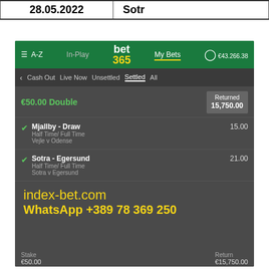| 28.05.2022 | Sotr |
| --- | --- |
[Figure (screenshot): bet365 mobile app screenshot showing a settled double bet of €50.00, returned 15,750.00. Two selections: Mjallby - Draw (Half Time/Full Time, Vejle v Odense) at odds 15.00, and Sotra - Egersund (Half Time/Full Time, Sotra v Egersund) at odds 21.00. Balance shown €43,266.38. Promotional text: index-bet.com, WhatsApp +389 78 369 250. Stake €50.00, Return €15,750.00.]